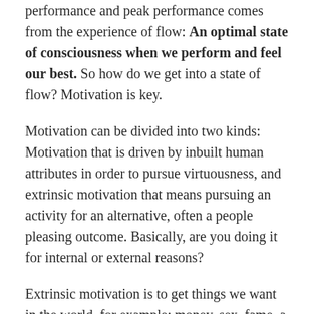performance and peak performance comes from the experience of flow: An optimal state of consciousness when we perform and feel our best. So how do we get into a state of flow? Motivation is key.
Motivation can be divided into two kinds:  Motivation that is driven by inbuilt human attributes in order to pursue virtuousness, and extrinsic motivation that means pursuing an activity for an alternative, often a people pleasing outcome. Basically, are you doing it for internal or external reasons?
Extrinsic motivation is to get things we want in the world, for example: money, sex, fame, a great body. On the other hand intrinsic motivation is driven by curiosity, passion, purpose, autonomy and mastery. If you are driven by those things then you have flow. And